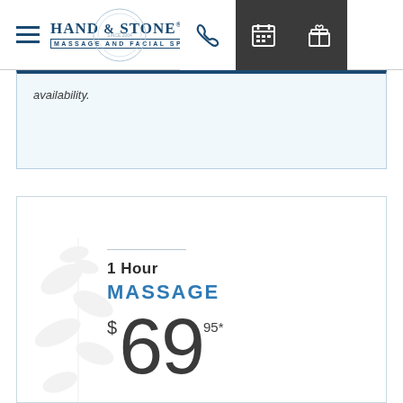Hand & Stone Massage and Facial Spa — navigation header
availability.
1 Hour MASSAGE $69.95*